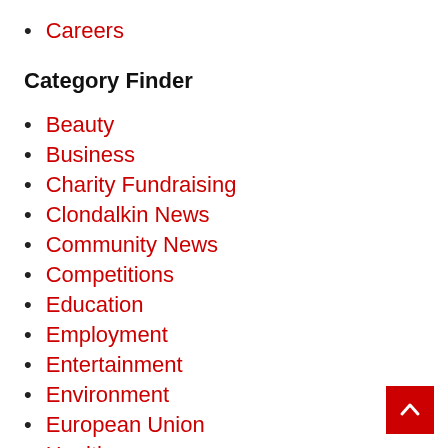Careers
Category Finder
Beauty
Business
Charity Fundraising
Clondalkin News
Community News
Competitions
Education
Employment
Entertainment
Environment
European Union
Health